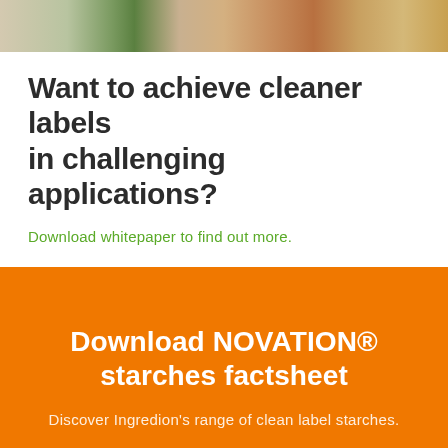[Figure (photo): Cropped food photo strip at top of page showing vegetables and ingredients with orange and green colors]
Want to achieve cleaner labels in challenging applications?
Download whitepaper to find out more.
[Figure (infographic): Orange banner/call-to-action box with white text: 'Download NOVATION® starches factsheet' and subtext 'Discover Ingredion's range of clean label starches.' with a white button at the bottom.]